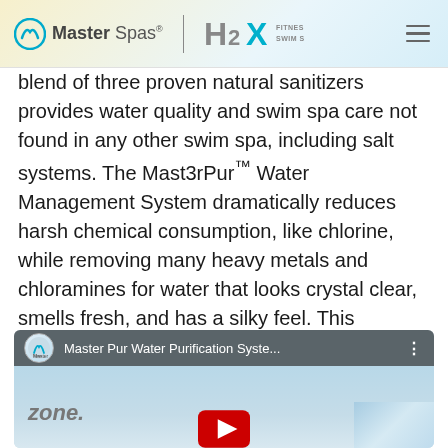[Figure (logo): Master Spas and H2X Fitness Swim Spas logos in a light gradient header bar with hamburger menu icon]
blend of three proven natural sanitizers provides water quality and swim spa care not found in any other swim spa, including salt systems. The Mast3rPur™ Water Management System dramatically reduces harsh chemical consumption, like chlorine, while removing many heavy metals and chloramines for water that looks crystal clear, smells fresh, and has a silky feel. This innovative, exclusive benefit is due to the power of three elements.
[Figure (screenshot): YouTube video embed thumbnail showing 'Master Pur Water Purification Syste...' with play button, Master Spas logo in top bar, 'zone.' text overlay, and water splash background]